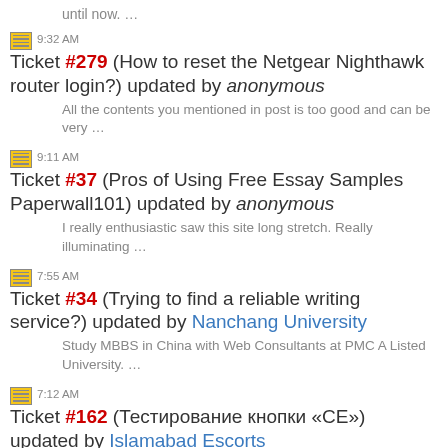until now. …
9:32 AM Ticket #279 (How to reset the Netgear Nighthawk router login?) updated by anonymous
All the contents you mentioned in post is too good and can be very …
9:11 AM Ticket #37 (Pros of Using Free Essay Samples Paperwall101) updated by anonymous
I really enthusiastic saw this site long stretch. Really illuminating …
7:55 AM Ticket #34 (Trying to find a reliable writing service?) updated by Nanchang University
Study MBBS in China with Web Consultants at PMC A Listed University. …
7:12 AM Ticket #162 (Тестирование кнопки «CE») updated by Islamabad Escorts
You are free to share your hopes and desires. There are no two …
6:09 AM Ticket #36 (BUG in VK System) updated by Wibargain